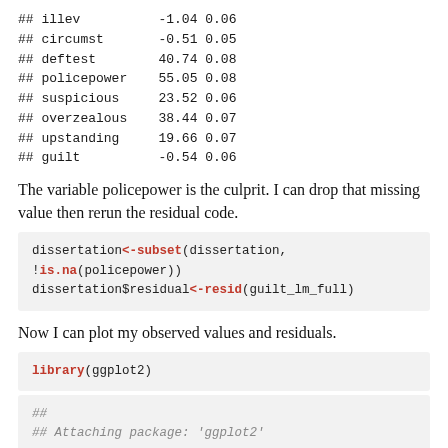## illev          -1.04 0.06
## circumst       -0.51 0.05
## deftest        40.74 0.08
## policepower    55.05 0.08
## suspicious     23.52 0.06
## overzealous    38.44 0.07
## upstanding     19.66 0.07
## guilt          -0.54 0.06
The variable policepower is the culprit. I can drop that missing value then rerun the residual code.
dissertation<-subset(dissertation, !is.na(policepower))
dissertation$residual<-resid(guilt_lm_full)
Now I can plot my observed values and residuals.
library(ggplot2)
##
## Attaching package: 'ggplot2'